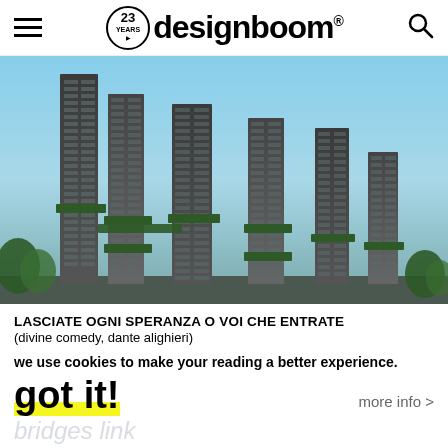designboom® — 23 years logo, hamburger menu, search icon
[Figure (photo): Architectural rendering of multiple tall residential skyscrapers with green sky bridges connecting them, against a blue sky background.]
LASCIATE OGNI SPERANZA O VOI CHE ENTRATE
(divine comedy, dante alighieri)
we use cookies to make your reading a better experience.
got it!
more info >
bridges link